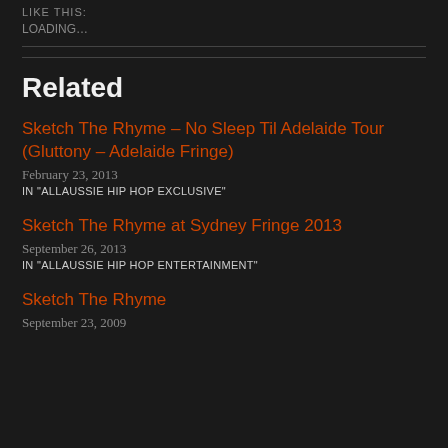LIKE THIS:
LOADING...
Related
Sketch The Rhyme – No Sleep Til Adelaide Tour (Gluttony – Adelaide Fringe)
February 23, 2013
IN "ALLAUSSIE HIP HOP EXCLUSIVE"
Sketch The Rhyme at Sydney Fringe 2013
September 26, 2013
IN "ALLAUSSIE HIP HOP ENTERTAINMENT"
Sketch The Rhyme
September 23, 2009